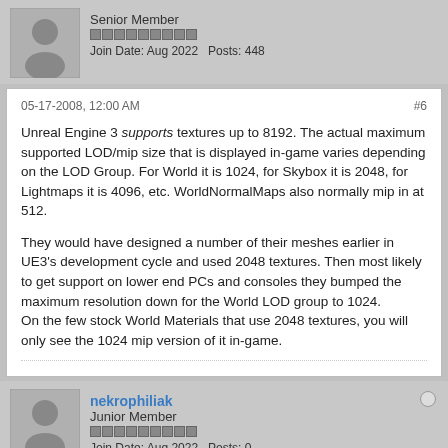Senior Member
Join Date: Aug 2022  Posts: 448
05-17-2008, 12:00 AM
#6
Unreal Engine 3 supports textures up to 8192. The actual maximum supported LOD/mip size that is displayed in-game varies depending on the LOD Group. For World it is 1024, for Skybox it is 2048, for Lightmaps it is 4096, etc. WorldNormalMaps also normally mip in at 512.

They would have designed a number of their meshes earlier in UE3's development cycle and used 2048 textures. Then most likely to get support on lower end PCs and consoles they bumped the maximum resolution down for the World LOD group to 1024.
On the few stock World Materials that use 2048 textures, you will only see the 1024 mip version of it in-game.
nekrophiliak
Junior Member
Join Date: Aug 2022  Posts: 0